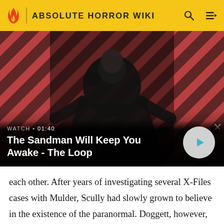ABSOLUTE HORROR WIKI
[Figure (screenshot): Video thumbnail for 'The Sandman Will Keep You Awake - The Loop' showing a dark figure with a raven on a red and black diagonal striped background. Overlay shows WATCH • 01:40 label and a play button.]
WATCH • 01:40
The Sandman Will Keep You Awake - The Loop
each other. After years of investigating several X-Files cases with Mulder, Scully had slowly grown to believe in the existence of the paranormal. Doggett, however, is a no-nonsense agent, who frequently utilizes his down-to-earth sensibilities he learned as a Marine and a cop.